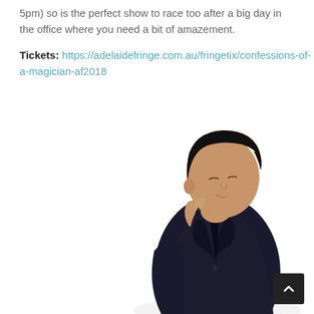5pm) so is the perfect show to race too after a big day in the office where you need a bit of amazement.
Tickets: https://adelaidefringe.com.au/fringetix/confessions-of-a-magician-af2018
[Figure (photo): A man in a black suit and dark shirt, head bowed down, photographed against a white background.]